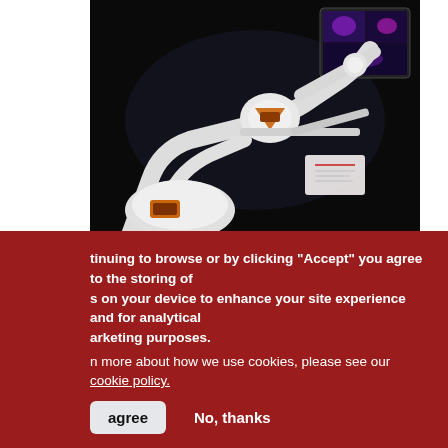[Figure (photo): A white robotic surgical arm (Stereotaxis robotics system) with orange accents positioned over a black background, with medical imaging monitors visible in the background.]
NEWS | EP LAB
Stereotaxis Robotics Reduces Incidence of Silent Cerebral Embolism During AF Ablation
continuing to browse or by clicking “Accept” you agree to the storing of s on your device to enhance your site experience and for analytical arketing purposes.
n more about how we use cookies, please see our cookie policy.
agree   No, thanks